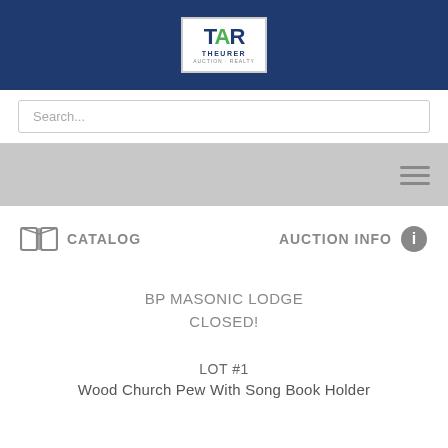TAR THEURER AUCTION REALTY
Search...
CATALOG   AUCTION INFO
BP MASONIC LODGE CLOSED!
LOT #1
Wood Church Pew With Song Book Holder